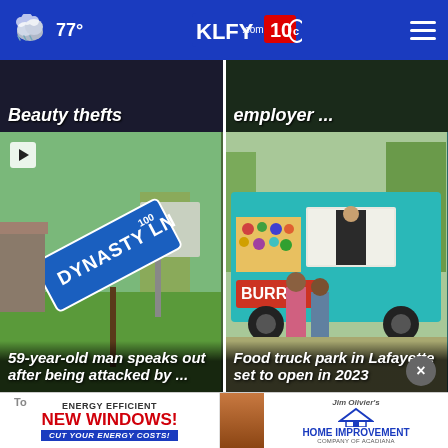77° KLFY.com 10
Beauty thefts
employer ...
[Figure (photo): Street sign reading DYNASTY LN 100 tilted in a yard with a billboard]
59-year-old man speaks out after being attacked by ...
[Figure (photo): Food truck in teal/turquoise color with people ordering, sign reads BURR]
Food truck park in Lafayette set to open in 2023
[Figure (other): Advertisement: ENERGY EFFICIENT NEW WINDOWS! CUT YOUR ENERGY COSTS! Jim Olivier's Home Improvement Company of Acadiana]